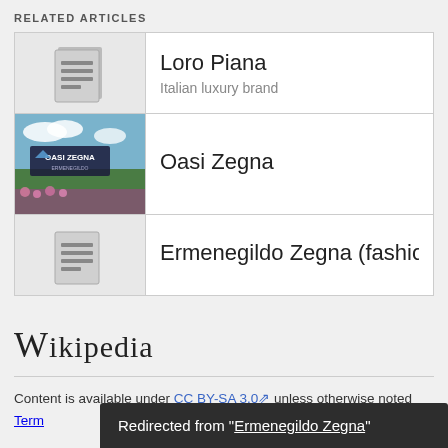RELATED ARTICLES
Loro Piana — Italian luxury brand
Oasi Zegna
Ermenegildo Zegna (fashion entreprene
[Figure (logo): Wikipedia wordmark in serif font]
Content is available under CC BY-SA 3.0 unless otherwise noted
Terms
Redirected from "Ermenegildo Zegna"